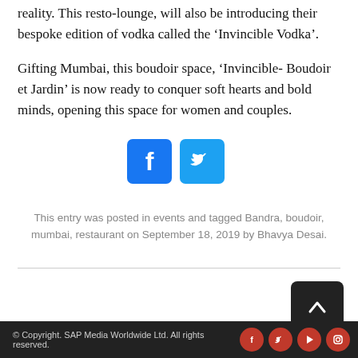reality. This resto-lounge, will also be introducing their bespoke edition of vodka called the ‘Invincible Vodka’.
Gifting Mumbai, this boudoir space, ‘Invincible- Boudoir et Jardin’ is now ready to conquer soft hearts and bold minds, opening this space for women and couples.
[Figure (other): Social share buttons: Facebook (blue rounded square) and Twitter (light blue rounded square)]
This entry was posted in events and tagged Bandra, boudoir, mumbai, restaurant on September 18, 2019 by Bhavya Desai.
[Figure (other): Back to top button: dark rounded square with upward chevron arrow]
© Copyright. SAP Media Worldwide Ltd. All rights reserved.